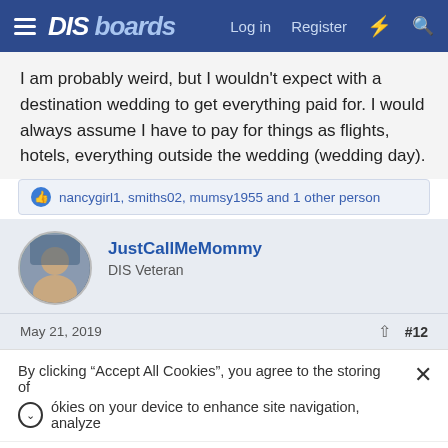DIS boards  Log in  Register
I am probably weird, but I wouldn't expect with a destination wedding to get everything paid for. I would always assume I have to pay for things as flights, hotels, everything outside the wedding (wedding day).
nancygirl1, smiths02, mumsy1955 and 1 other person
JustCallMeMommy
DIS Veteran
May 21, 2019  #12
By clicking “Accept All Cookies”, you agree to the storing of ókies on your device to enhance site navigation, analyze
✓ Dine-in  ✓ Takeout
✓ Delivery